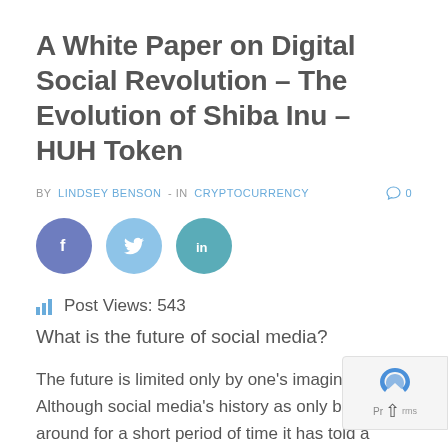A White Paper on Digital Social Revolution – The Evolution of Shiba Inu – HUH Token
BY LINDSEY BENSON - IN CRYPTOCURRENCY   0
[Figure (infographic): Three social media share buttons as colored circles: Facebook (dark blue-purple), Twitter (light blue), LinkedIn (teal)]
Post Views: 543
What is the future of social media?
The future is limited only by one's imagination. Although social media's history as only been around for a short period of time it has told a…